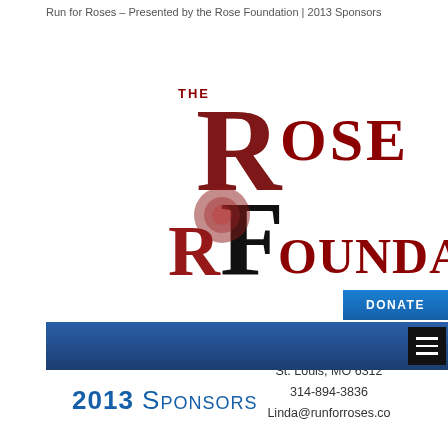Run for Roses – Presented by the Rose Foundation | 2013 Sponsors
[Figure (logo): The Rose Foundation logo with decorative red and black lettering]
The Rose Foundation
2702 Bloomfield Dr
St. Louis, MO 6312
314-894-3836
Linda@runforroses.co
2013 Sponsors